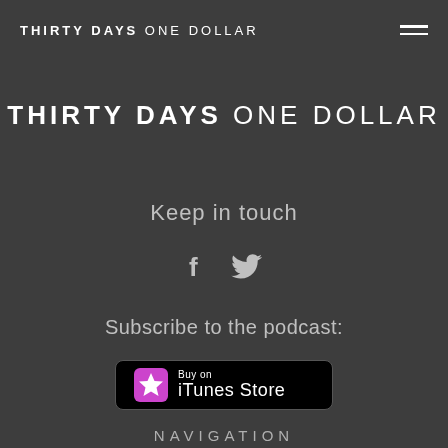THIRTY DAYS ONE DOLLAR
THIRTY DAYS ONE DOLLAR
Keep in touch
[Figure (illustration): Facebook and Twitter social media icons in light gray]
Subscribe to the podcast:
[Figure (logo): Buy on iTunes Store badge with pink star icon on black background]
NAVIGATION